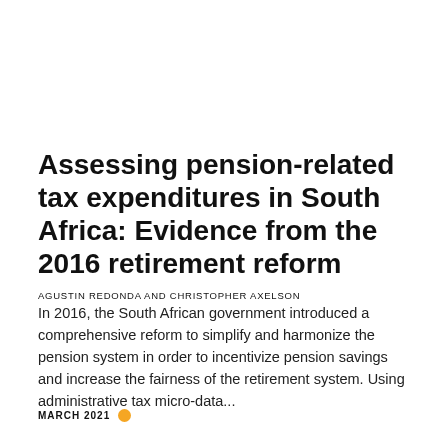Assessing pension-related tax expenditures in South Africa: Evidence from the 2016 retirement reform
AGUSTIN REDONDA AND CHRISTOPHER AXELSON
In 2016, the South African government introduced a comprehensive reform to simplify and harmonize the pension system in order to incentivize pension savings and increase the fairness of the retirement system. Using administrative tax micro-data...
MARCH 2021